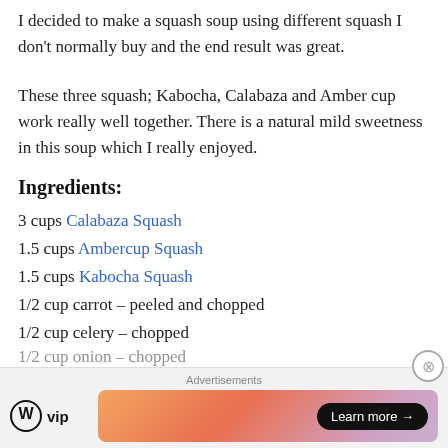I decided to make a squash soup using different squash I don't normally buy and the end result was great.
These three squash; Kabocha, Calabaza and Amber cup work really well together. There is a natural mild sweetness in this soup which I really enjoyed.
Ingredients:
3 cups Calabaza Squash
1.5 cups Ambercup Squash
1.5 cups Kabocha Squash
1/2 cup carrot – peeled and chopped
1/2 cup celery – chopped
[Figure (screenshot): WordPress VIP advertisement banner with 'Learn more →' button on a gradient pink/orange background, with 'Advertisements' label above and a close (×) button.]